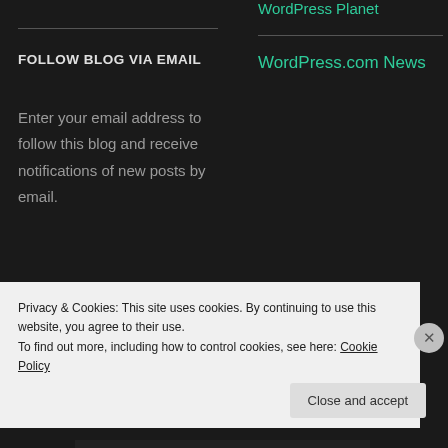WordPress Planet
FOLLOW BLOG VIA EMAIL
Enter your email address to follow this blog and receive notifications of new posts by email.
WordPress.com News
Privacy & Cookies: This site uses cookies. By continuing to use this website, you agree to their use.
To find out more, including how to control cookies, see here: Cookie Policy
Close and accept